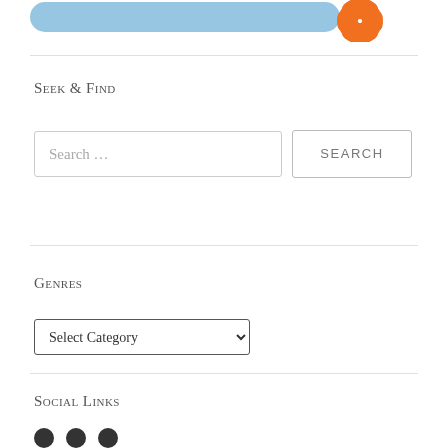[Figure (illustration): Partial top graphic showing a blue/orange decorative logo or banner cropped at top of page]
Seek & Find
[Figure (screenshot): Search input field with placeholder 'Search ...' and a SEARCH button]
Genres
[Figure (screenshot): Dropdown select element labeled 'Select Category']
Social Links
[Figure (illustration): Partial social media icon circles at bottom of page]